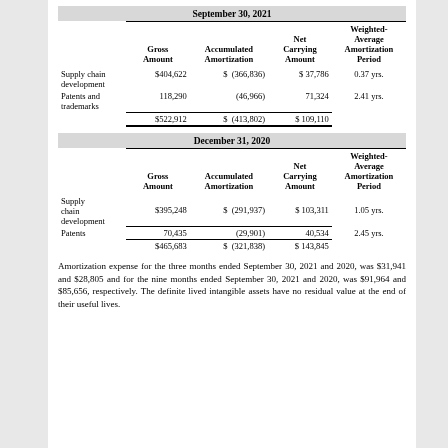September 30, 2021
|  | Gross Amount | Accumulated Amortization | Net Carrying Amount | Weighted-Average Amortization Period |
| --- | --- | --- | --- | --- |
| Supply chain development | $404,622 | $  (366,836) | $ 37,786 | 0.37 yrs. |
| Patents and trademarks | 118,290 | (46,966) | 71,324 | 2.41 yrs. |
|  | $522,912 | $  (413,802) | $ 109,110 |  |
December 31, 2020
|  | Gross Amount | Accumulated Amortization | Net Carrying Amount | Weighted-Average Amortization Period |
| --- | --- | --- | --- | --- |
| Supply chain development | $395,248 | $  (291,937) | $ 103,311 | 1.05 yrs. |
| Patents | 70,435 | (29,901) | 40,534 | 2.45 yrs. |
|  | $465,683 | $  (321,838) | $ 143,845 |  |
Amortization expense for the three months ended September 30, 2021 and 2020, was $31,941 and $28,805 and for the nine months ended September 30, 2021 and 2020, was $91,964 and $85,656, respectively. The definite lived intangible assets have no residual value at the end of their useful lives.